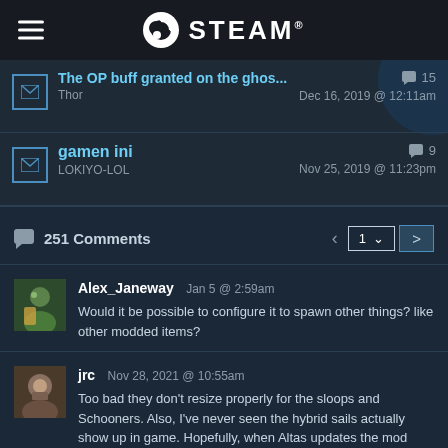STEAM
The OP buff granted on the ghos... | Thor | Dec 16, 2019 @ 12:11am | 15 comments
gamen ini | LOKIYO-LOL | Nov 25, 2019 @ 11:23pm | 9 comments
251 Comments
Alex_Janeway Jan 5 @ 2:59am
Would it be possible to configure it to spawn other things? like other modded items?
jrc Nov 28, 2021 @ 10:55am
Too bad they don't resize properly for the sloops and Schooners. Also, I've never seen the hybrid sails actually show up in game. Hopefully, when Altas updates the mod stuff, that'll change.